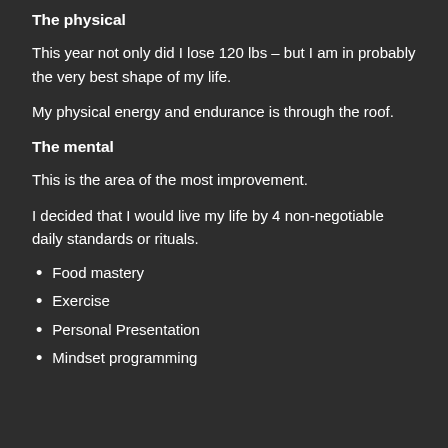The physical
This year not only did I lose 120 lbs – but I am in probably the very best shape of my life.
My physical energy and endurance is through the roof.
The mental
This is the area of the most improvement.
I decided that I would live my life by 4 non-negotiable daily standards or rituals.
Food mastery
Exercise
Personal Presentation
Mindset programming